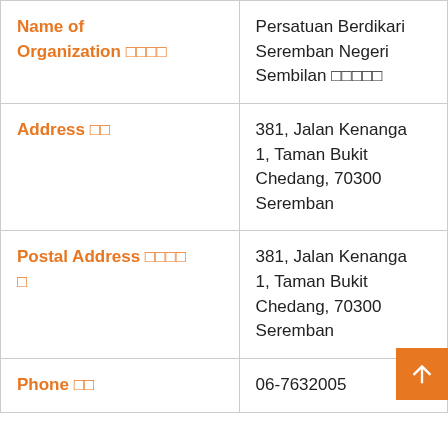| Name of Organization □□□□ | Persatuan Berdikari Seremban Negeri Sembilan □□□□□ |
| Address □□ | 381, Jalan Kenanga 1, Taman Bukit Chedang, 70300 Seremban |
| Postal Address □□□□□ | 381, Jalan Kenanga 1, Taman Bukit Chedang, 70300 Seremban |
| Phone □□ | 06-7632005 |